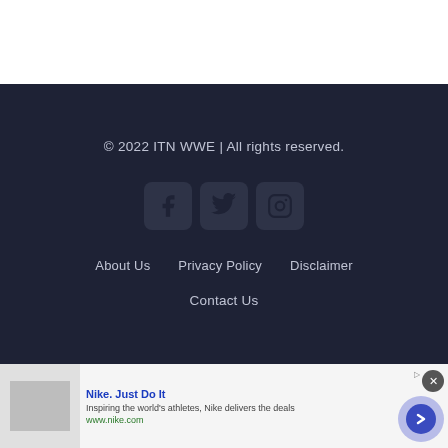© 2022 ITN WWE | All rights reserved.
[Figure (other): Social media icons: Facebook, Twitter, Instagram]
About Us    Privacy Policy    Disclaimer
Contact Us
[Figure (other): Ad banner: Nike. Just Do It — Inspiring the world's athletes, Nike delivers the deals. www.nike.com]